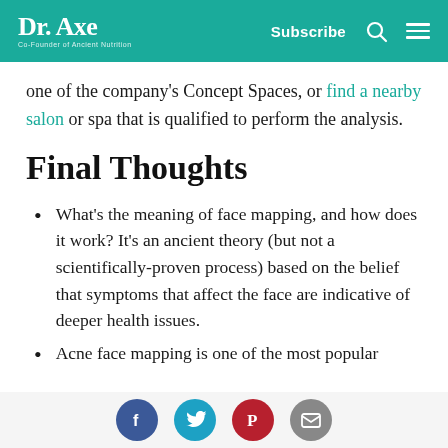Dr. Axe — Co-Founder of Ancient Nutrition | Subscribe
one of the company's Concept Spaces, or find a nearby salon or spa that is qualified to perform the analysis.
Final Thoughts
What's the meaning of face mapping, and how does it work? It's an ancient theory (but not a scientifically-proven process) based on the belief that symptoms that affect the face are indicative of deeper health issues.
Acne face mapping is one of the most popular
Social share buttons: Facebook, Twitter, Pinterest, Email